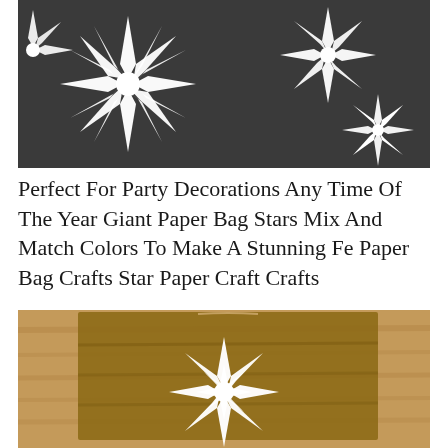[Figure (photo): White paper bag star decorations (origami-style folded paper stars) arranged on a dark gray/charcoal background. Multiple large white star shapes visible.]
Perfect For Party Decorations Any Time Of The Year Giant Paper Bag Stars Mix And Match Colors To Make A Stunning Fe Paper Bag Crafts Star Paper Craft Crafts
[Figure (photo): A white paper bag star decoration laid flat on a wooden floor surface. The star is folded from white paper bags and shows detailed pointed spikes radiating from center.]